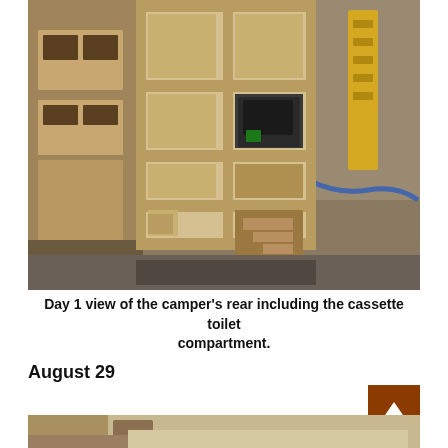[Figure (photo): Day 1 view of the camper's rear interior showing wooden framing with multiple rectangular cutouts/compartments, a cassette toilet compartment visible on the right side with a dark toilet unit, and a workshop space in the background.]
Day 1 view of the camper's rear including the cassette toilet compartment.
August 29
[Figure (photo): Partial view of the camper interior, showing what appears to be a wooden surface or bed platform, partially cropped at the bottom of the page.]